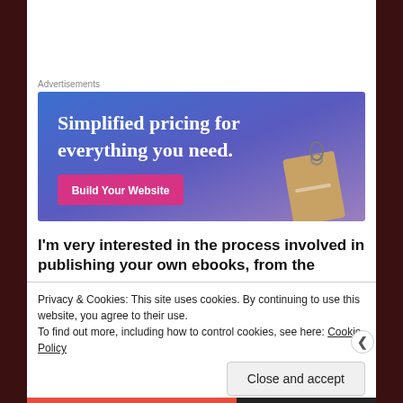Advertisements
[Figure (illustration): Advertisement banner with blue-to-purple gradient background and price tag image. Text reads: 'Simplified pricing for everything you need.' with a pink 'Build Your Website' button.]
I'm very interested in the process involved in publishing your own ebooks, from the
Privacy & Cookies: This site uses cookies. By continuing to use this website, you agree to their use.
To find out more, including how to control cookies, see here: Cookie Policy
Close and accept